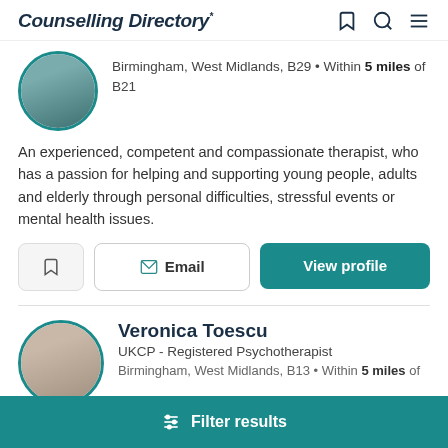Counselling Directory
Birmingham, West Midlands, B29 • Within 5 miles of B21
An experienced, competent and compassionate therapist, who has a passion for helping and supporting young people, adults and elderly through personal difficulties, stressful events or mental health issues.
Veronica Toescu
UKCP - Registered Psychotherapist
Birmingham, West Midlands, B13 • Within 5 miles of
Filter results